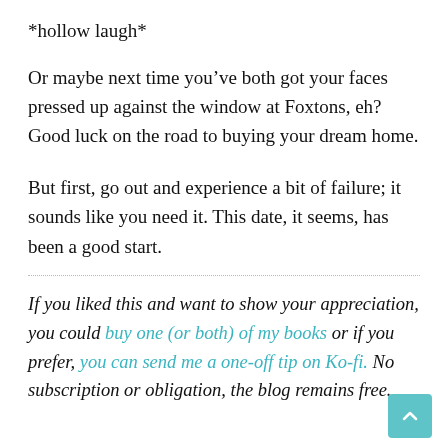*hollow laugh*
Or maybe next time you’ve both got your faces pressed up against the window at Foxtons, eh? Good luck on the road to buying your dream home.
But first, go out and experience a bit of failure; it sounds like you need it. This date, it seems, has been a good start.
If you liked this and want to show your appreciation, you could buy one (or both) of my books or if you prefer, you can send me a one-off tip on Ko-fi. No subscription or obligation, the blog remains free.